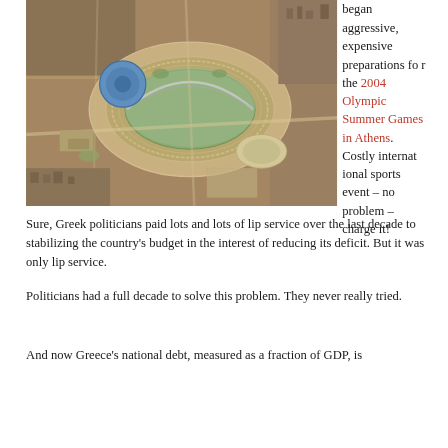[Figure (photo): Aerial photograph of an Olympic sports complex, showing stadiums, arenas, and surrounding urban area, likely the Athens Olympic Sports Complex.]
began aggressive, expensive preparations for the 2004 Olympic Summer Games in Athens. Costly international sports event – no problem – charge it!
Sure, Greek politicians paid lots and lots of lip service over the last decade to stabilizing the country's budget in the interest of reducing its deficit. But it was only lip service.
Politicians had a full decade to solve this problem. They never really tried.
And now Greece's national debt, measured as a fraction of GDP, is